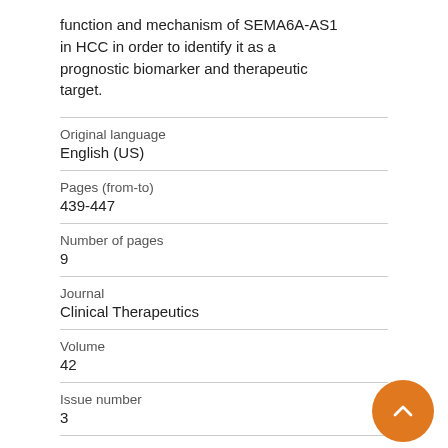function and mechanism of SEMA6A-AS1 in HCC in order to identify it as a prognostic biomarker and therapeutic target.
| Field | Value |
| --- | --- |
| Original language | English (US) |
| Pages (from-to) | 439-447 |
| Number of pages | 9 |
| Journal | Clinical Therapeutics |
| Volume | 42 |
| Issue number | 3 |
| State |  |